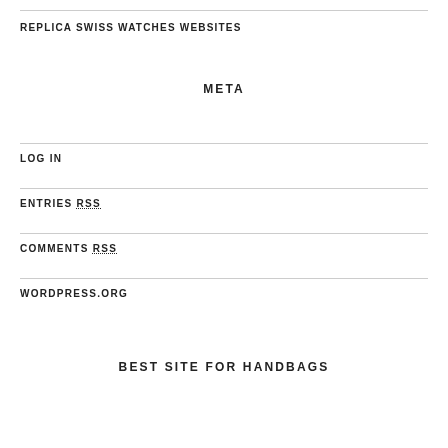REPLICA SWISS WATCHES WEBSITES
META
LOG IN
ENTRIES RSS
COMMENTS RSS
WORDPRESS.ORG
BEST SITE FOR HANDBAGS